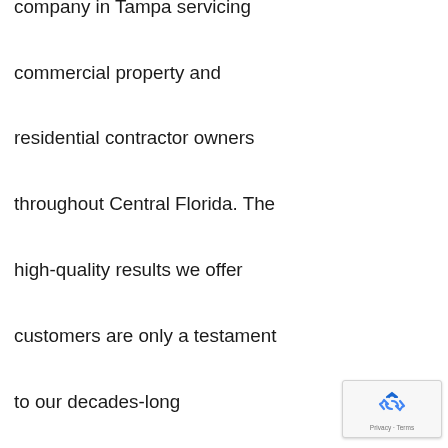company in Tampa servicing commercial property and residential contractor owners throughout Central Florida. The high-quality results we offer customers are only a testament to our decades-long experience and attention to detail. Moreover, we collaborate closely with our
[Figure (other): Google reCAPTCHA badge with recycling arrows logo icon and 'Privacy - Terms' text]